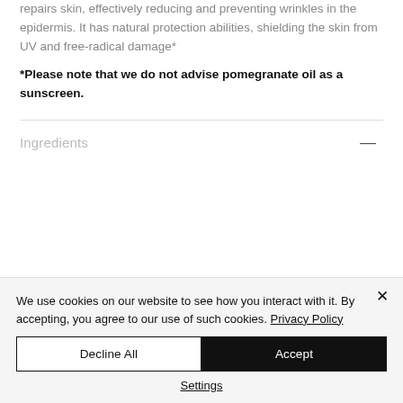repairs skin, effectively reducing and preventing wrinkles in the epidermis. It has natural protection abilities, shielding the skin from UV and free-radical damage*
*Please note that we do not advise pomegranate oil as a sunscreen.
Ingredients
We use cookies on our website to see how you interact with it. By accepting, you agree to our use of such cookies. Privacy Policy
Decline All
Accept
Settings